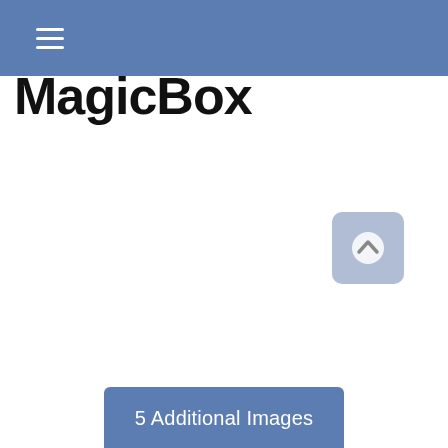Navigation bar with hamburger menu
MagicBox
[Figure (other): Scroll-to-top button: rounded square with upward chevron arrow icon, light blue-grey color]
5 Additional Images